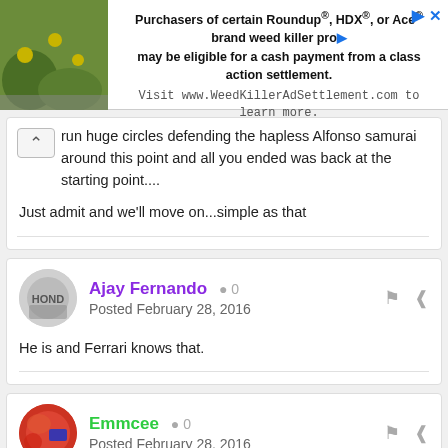[Figure (infographic): Advertisement banner for Roundup/HDX/Ace weed killer class action settlement with plant image on left]
run huge circles defending the hapless Alfonso samurai around this point and all you ended was back at the starting point....
Just admit and we'll move on...simple as that
Ajay Fernando  ● 0
Posted February 28, 2016
He is and Ferrari knows that.
Emmcee  ● 0
Posted February 28, 2016
On 2/28/2016 at 4:45 AM, BradSpeedMan said: